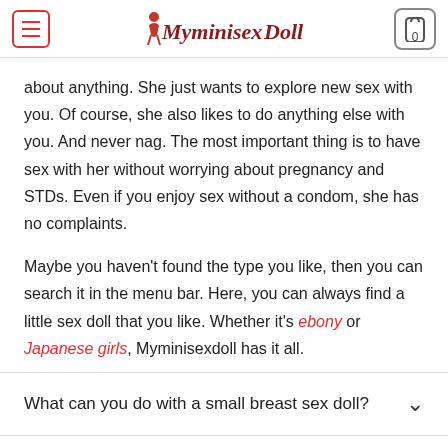Myminisexdoll — navigation header with menu and cart
about anything. She just wants to explore new sex with you. Of course, she also likes to do anything else with you. And never nag. The most important thing is to have sex with her without worrying about pregnancy and STDs. Even if you enjoy sex without a condom, she has no complaints.

Maybe you haven't found the type you like, then you can search it in the menu bar. Here, you can always find a little sex doll that you like. Whether it's ebony or Japanese girls, Myminisexdoll has it all.
What can you do with a small breast sex doll?
rious types of small breast sex doll at myminisexdoll